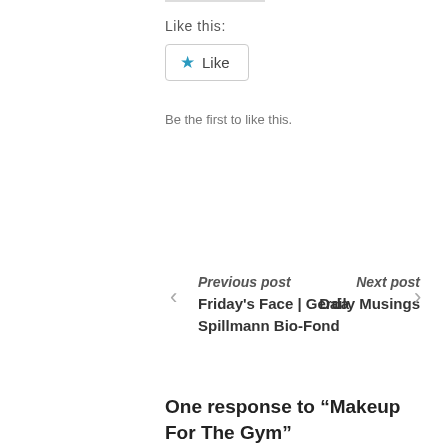Like this:
[Figure (other): Like button widget with blue star icon and 'Like' text, bordered button]
Be the first to like this.
Previous post
Friday's Face | Gerda Spillmann Bio-Fond
Next post
Daily Musings
One response to “Makeup For The Gym”